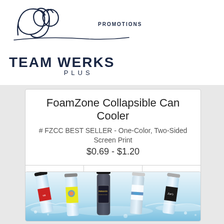[Figure (logo): CGO Promotions cursive script logo with 'PROMOTIONS' text in caps]
TEAM WERKS PLUS
FoamZone Collapsible Can Cooler
# FZCC BEST SELLER - One-Color, Two-Sided Screen Print
$0.69 - $1.20
[Figure (photo): Five branded water bottles with custom labels standing in water/ice, various brand logos visible including Mercedes-Benz, Paragon, and Joe's]